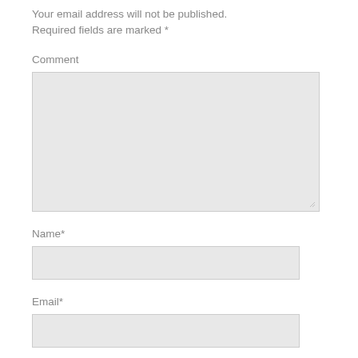Your email address will not be published. Required fields are marked *
Comment
[Figure (other): Comment text area input box, large rectangle with resize handle]
Name*
[Figure (other): Name text input box, single line rectangle]
Email*
[Figure (other): Email text input box, single line rectangle]